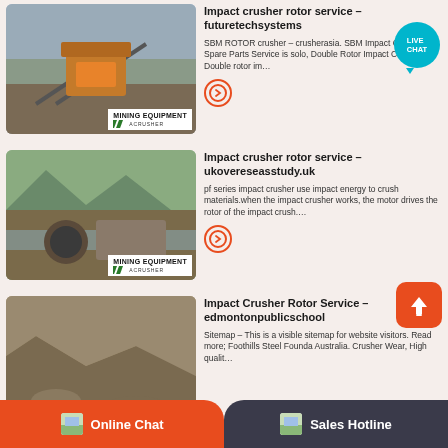[Figure (photo): Mining equipment / impact crusher at industrial site with conveyor belts, labeled MINING EQUIPMENT ACRUSHER]
Impact crusher rotor service – futuretechsystems
SBM ROTOR crusher – crusherasia. SBM Impact Crusher Spare Parts Service is solo, Double Rotor Impact Crusher Double rotor im…
[Figure (photo): Mining equipment at riverbed/outdoor site with machinery, labeled MINING EQUIPMENT ACRUSHER]
Impact crusher rotor service – ukovereseasstudy.uk
pf series impact crusher use impact energy to crush materials.when the impact crusher works, the motor drives the rotor of the impact crush….
[Figure (photo): Quarry/mining site with rocky cliff face and machinery]
Impact Crusher Rotor Service – edmontonpublicschool
Sitemap – This is a visible sitemap for website visitors. Read more; Foothills Steel Founda Australia. Crusher Wear, High qualit…
Online Chat
Sales Hotline